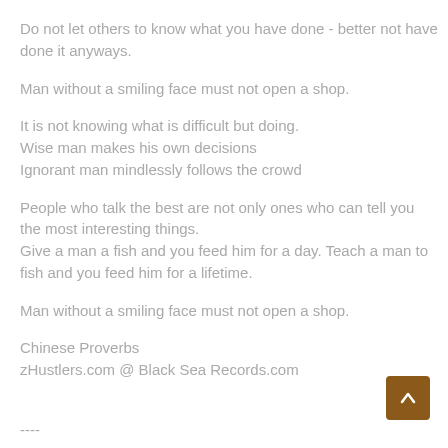Do not let others to know what you have done - better not have done it anyways.
Man without a smiling face must not open a shop.
It is not knowing what is difficult but doing.
Wise man makes his own decisions
Ignorant man mindlessly follows the crowd
People who talk the best are not only ones who can tell you the most interesting things.
Give a man a fish and you feed him for a day. Teach a man to fish and you feed him for a lifetime.
Man without a smiling face must not open a shop.
Chinese Proverbs
zHustlers.com @ Black Sea Records.com
----